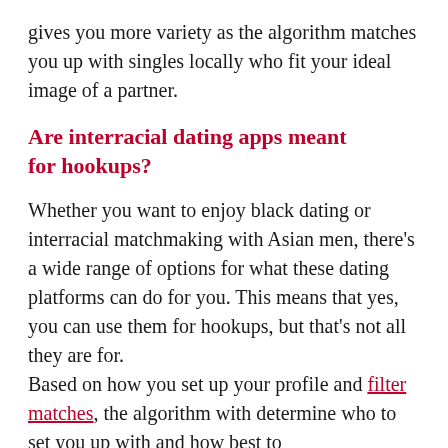gives you more variety as the algorithm matches you up with singles locally who fit your ideal image of a partner.
Are interracial dating apps meant for hookups?
Whether you want to enjoy black dating or interracial matchmaking with Asian men, there’s a wide range of options for what these dating platforms can do for you. This means that yes, you can use them for hookups, but that’s not all they are for.
Based on how you set up your profile and filter matches, the algorithm with determine who to set you up with and how best to